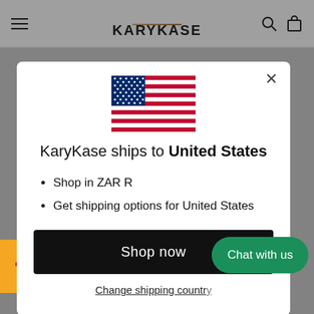KARYKASE
[Figure (illustration): US flag emoji large centered in modal]
KaryKase ships to United States
Shop in ZAR R
Get shipping options for United States
Shop now
Change shipping country
Chat with us
ZEMP PADDINGTON SLING ... P PA
NAVY
R 1,390